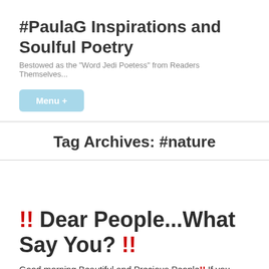#PaulaG Inspirations and Soulful Poetry
Bestowed as the "Word Jedi Poetess" from Readers Themselves...
Menu +
Tag Archives: #nature
!! Dear People...What Say You? !!
Good morning Beautiful and Precious People!! If you